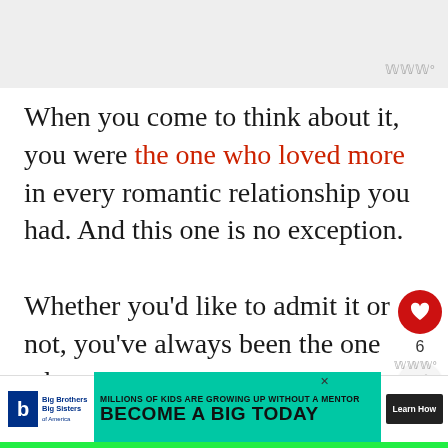[Figure (other): Top grey banner area with site logo watermark (WWW degree symbol) in top-right corner]
When you come to think about it, you were the one who loved more in every romantic relationship you had. And this one is no exception.

Whether you'd like to admit it or not, you've always been the one who puts more effort in and who gives way more love than she receives. The one who
[Figure (other): Heart icon button (red circle with white heart) with count 6 below it, and share icon button below that]
[Figure (other): What's Next overlay: thumbnail image with text '10 Signs Your Boyfriend Is...']
[Figure (other): Advertisement banner: Big Brothers Big Sisters logo on left, teal background with text 'MILLIONS OF KIDS ARE GROWING UP WITHOUT A MENTOR. BECOME A BIG TODAY' and Learn How button]